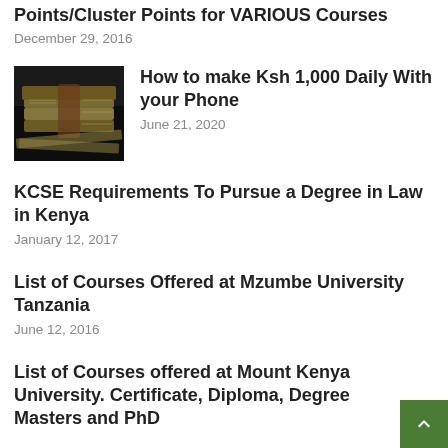Points/Cluster Points for VARIOUS Courses
December 29, 2016
[Figure (photo): Stack of money/banknotes tied together on a surface]
How to make Ksh 1,000 Daily With your Phone
June 21, 2020
KCSE Requirements To Pursue a Degree in Law in Kenya
January 12, 2017
List of Courses Offered at Mzumbe University Tanzania
June 12, 2016
List of Courses offered at Mount Kenya University. Certificate, Diploma, Degree Masters and PhD